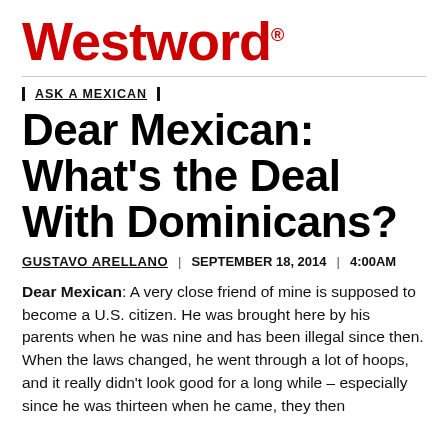Westword
ASK A MEXICAN
Dear Mexican: What's the Deal With Dominicans?
GUSTAVO ARELLANO | SEPTEMBER 18, 2014 | 4:00AM
Dear Mexican: A very close friend of mine is supposed to become a U.S. citizen. He was brought here by his parents when he was nine and has been illegal since then. When the laws changed, he went through a lot of hoops, and it really didn't look good for a long while – especially since he was thirteen when he came, they then